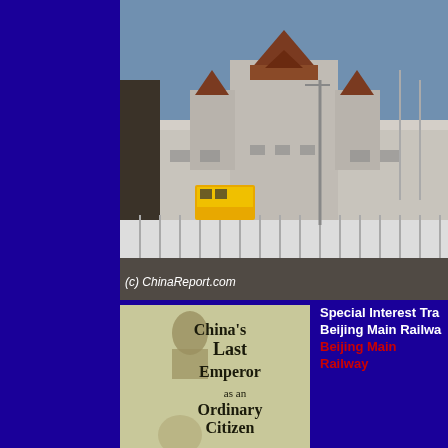[Figure (photo): Photograph of Beijing Main Railway Station building with Chinese architectural elements, white fence barriers in foreground, a yellow bus visible, taken from street level. Dark blue panels on left portion of image.]
(c) ChinaReport.com
[Figure (photo): Sepia/olive toned book cover image reading: China's Last Emperor as an Ordinary Citizen, with a figure in traditional dress at top and a man's face at bottom.]
Special Interest Tra Beijing Main Railwa Beijing Main Railway